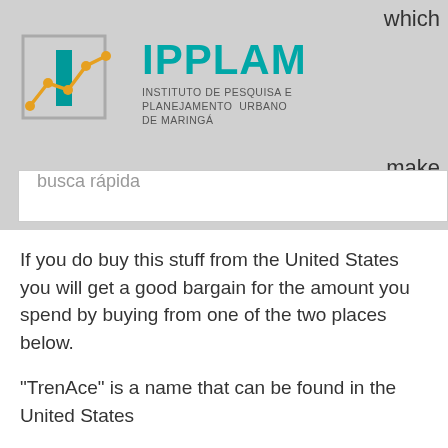[Figure (logo): IPPLAM logo — Instituto de Pesquisa e Planejamento Urbano de Maringá, with teal bar chart and line graph icon]
which
make
the
busca rápida
If you do buy this stuff from the United States you will get a good bargain for the amount you spend by buying from one of the two places below.
"TrenAce" is a name that can be found in the United States
"Supplements International".
Here in the United States you have one of two choices: